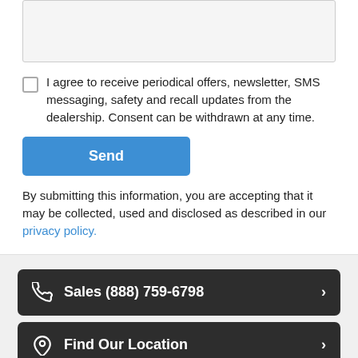[textarea field]
I agree to receive periodical offers, newsletter, SMS messaging, safety and recall updates from the dealership. Consent can be withdrawn at any time.
Send
By submitting this information, you are accepting that it may be collected, used and disclosed as described in our privacy policy.
Sales (888) 759-6798
Find Our Location
Contact Us